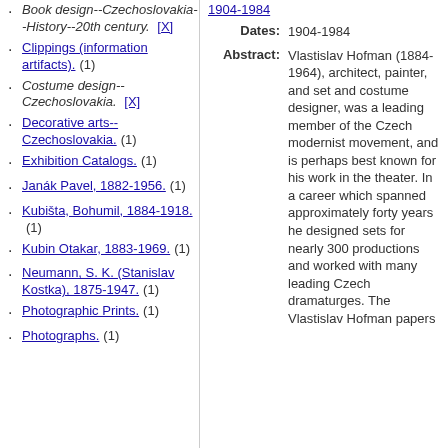Book design--Czechoslovakia--History--20th century. [X]
Clippings (information artifacts). (1)
Costume design--Czechoslovakia. [X]
Decorative arts--Czechoslovakia. (1)
Exhibition Catalogs. (1)
Janák Pavel, 1882-1956. (1)
Kubišta, Bohumil, 1884-1918. (1)
Kubin Otakar, 1883-1969. (1)
Neumann, S. K. (Stanislav Kostka), 1875-1947. (1)
Photographic Prints. (1)
Photographs. (1)
1904-1984
Dates: 1904-1984
Abstract: Vlastislav Hofman (1884-1964), architect, painter, and set and costume designer, was a leading member of the Czech modernist movement, and is perhaps best known for his work in the theater. In a career which spanned approximately forty years he designed sets for nearly 300 productions and worked with many leading Czech dramaturges. The Vlastislav Hofman papers...